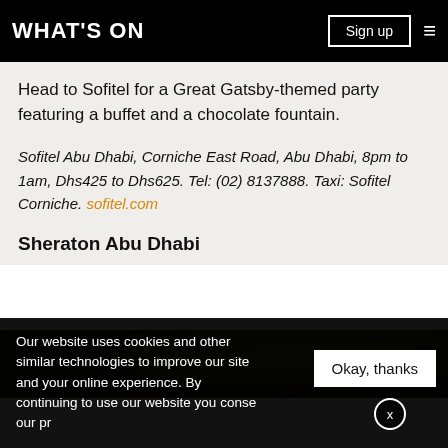WHAT'S ON | Sign up
Head to Sofitel for a Great Gatsby-themed party featuring a buffet and a chocolate fountain.
Sofitel Abu Dhabi, Corniche East Road, Abu Dhabi, 8pm to 1am, Dhs425 to Dhs625. Tel: (02) 8137888. Taxi: Sofitel Corniche. sofitel.com
Sheraton Abu Dhabi
[Figure (photo): Dark outdoor photo showing palm trees or foliage at night]
Our website uses cookies and other similar technologies to improve our site and your online experience. By continuing to use our website you consent to our privacy policy.